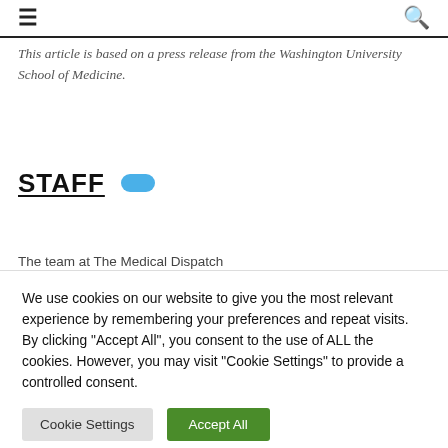≡  🔍
This article is based on a press release from the Washington University School of Medicine.
STAFF
The team at The Medical Dispatch
We use cookies on our website to give you the most relevant experience by remembering your preferences and repeat visits. By clicking "Accept All", you consent to the use of ALL the cookies. However, you may visit "Cookie Settings" to provide a controlled consent.